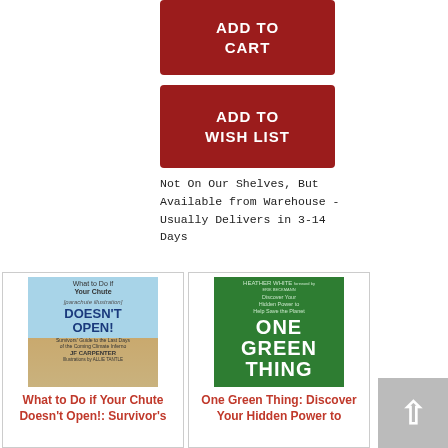[Figure (other): Red 'ADD TO CART' button]
[Figure (other): Red 'ADD TO WISH LIST' button]
Not On Our Shelves, But Available from Warehouse - Usually Delivers in 3-14 Days
[Figure (illustration): Book cover: What to Do if Your Chute Doesn't Open! - light blue sky and tan desert background with parachute imagery, by JF Carpenter]
What to Do if Your Chute Doesn't Open!: Survivor's
[Figure (illustration): Book cover: One Green Thing - green background with large white text, by Heather White]
One Green Thing: Discover Your Hidden Power to